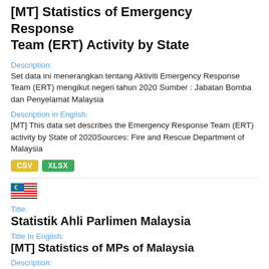[MT] Statistics of Emergency Response Team (ERT) Activity by State
Description:
Set data ini menerangkan tentang Aktiviti Emergency Response Team (ERT) mengikut negeri tahun 2020 Sumber : Jabatan Bomba dan Penyelamat Malaysia
Description in English:
[MT] This data set describes the Emergency Response Team (ERT) activity by State of 2020Sources: Fire and Rescue Department of Malaysia
CSV  XLSX
[Figure (other): Malaysian flag icon]
Title:
Statistik Ahli Parlimen Malaysia
Title In English:
[MT] Statistics of MPs of Malaysia
Description:
Set data ini memaparkan maklumat berkenaan statistik Ahli Parlimen mengikut parti dan negeri